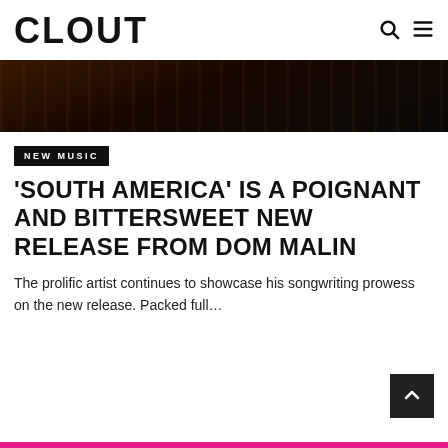CLOUT
[Figure (photo): Dark, moody hero photograph with warm amber/orange tones, showing a dimly lit scene.]
NEW MUSIC
'SOUTH AMERICA' IS A POIGNANT AND BITTERSWEET NEW RELEASE FROM DOM MALIN
The prolific artist continues to showcase his songwriting prowess on the new release. Packed full…